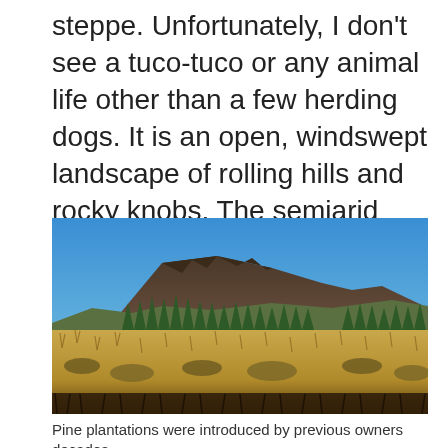steppe. Unfortunately, I don't see a tuco-tuco or any animal life other than a few herding dogs. It is an open, windswept landscape of rolling hills and rocky knobs. The semiarid climate naturally supports grasslands punctuated with individual trees and clumping shrubs.
[Figure (photo): Landscape photograph showing a rocky mountain peak under a clear blue sky, with a line of conifer trees in the middle ground and dry golden grassland steppe in the foreground.]
Pine plantations were introduced by previous owners decades...